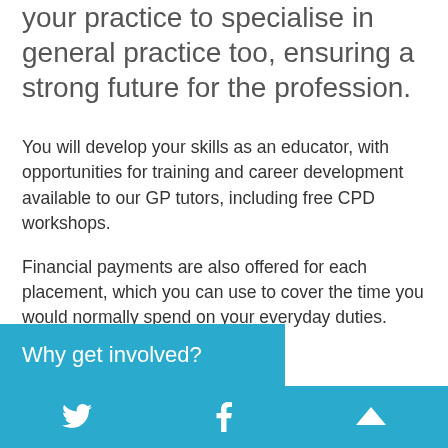your practice to specialise in general practice too, ensuring a strong future for the profession.
You will develop your skills as an educator, with opportunities for training and career development available to our GP tutors, including free CPD workshops.
Financial payments are also offered for each placement, which you can use to cover the time you would normally spend on your everyday duties.
Why get involved?
Twitter | Facebook | Up